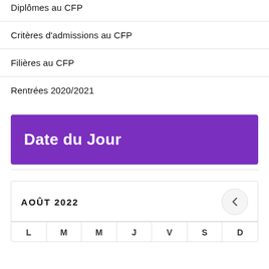Diplômes au CFP
Critères d'admissions au CFP
Filières au CFP
Rentrées 2020/2021
Date du Jour
| L | M | M | J | V | S | D |
| --- | --- | --- | --- | --- | --- | --- |